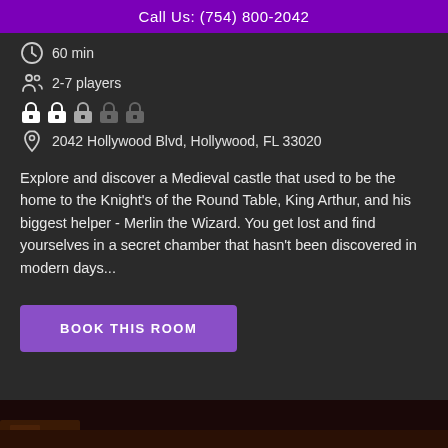Call Us: (754) 800-2042
60 min
2-7 players
[Figure (illustration): Five lock difficulty icons, three filled/active and two grayed out]
2042 Hollywood Blvd, Hollywood, FL 33020
Explore and discover a Medieval castle that used to be the home to the Knight's of the Round Table, King Arthur, and his biggest helper - Merlin the Wizard. You get lost and find yourselves in a secret chamber that hasn't been discovered in modern days...
BOOK THIS ROOM
[Figure (photo): Partial bottom image strip showing a dark medieval-themed scene]